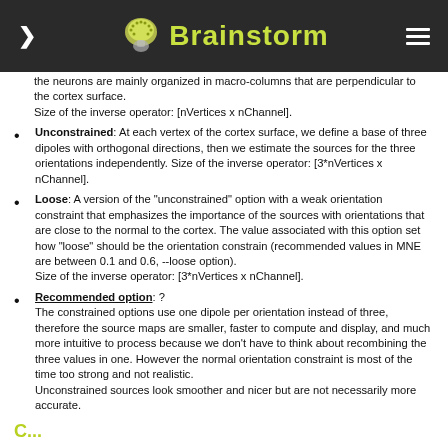Brainstorm
the neurons are mainly organized in macro-columns that are perpendicular to the cortex surface.
Size of the inverse operator: [nVertices x nChannel].
Unconstrained: At each vertex of the cortex surface, we define a base of three dipoles with orthogonal directions, then we estimate the sources for the three orientations independently. Size of the inverse operator: [3*nVertices x nChannel].
Loose: A version of the "unconstrained" option with a weak orientation constraint that emphasizes the importance of the sources with orientations that are close to the normal to the cortex. The value associated with this option set how "loose" should be the orientation constrain (recommended values in MNE are between 0.1 and 0.6, --loose option).
Size of the inverse operator: [3*nVertices x nChannel].
Recommended option: ?
The constrained options use one dipole per orientation instead of three, therefore the source maps are smaller, faster to compute and display, and much more intuitive to process because we don't have to think about recombining the three values in one. However the normal orientation constraint is most of the time too strong and not realistic.
Unconstrained sources look smoother and nicer but are not necessarily more accurate.
C...